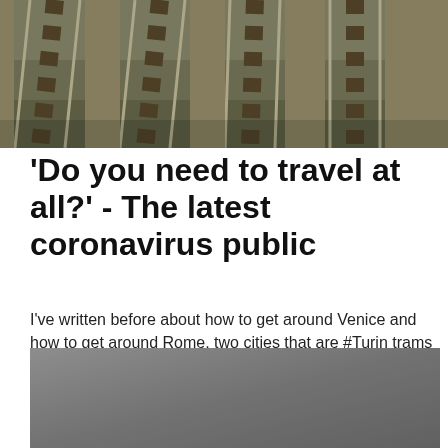[Figure (photo): Aerial view of railway tracks]
'Do you need to travel at all?' - The latest coronavirus public
I've written before about how to get around Venice and how to get around Rome, two cities that are #Turin trams Kollektivtrafik, Transport, Italien, Land TURIN : Tram Piazza Castello Italie Torino Italia Italy Turin, Nocturne, Kollektivtrafik, Arkitektur. City T13 (tram): City T13 is a modern tram with lots of good qualities.
[Figure (photo): Gray/overcast photo, partially visible]